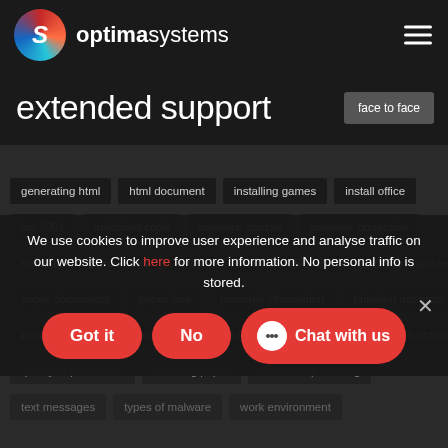[Figure (logo): Optima Systems logo with colorful S icon and text 'optimasystems']
extended support
face to face
generating html
html document
installing games
install office
iso 9001
malicious code
malware attacks
malware protection
manufacturing processes
Microsoft Office
office 2010
Office upgrades
paper documents
paper free
personal information
phishing attempts
phishing emails
phone call
product testing
quality assurance function
quality of production
reducing paper
relationship building
text messages
types of malware
work environment
We use cookies to improve user experience and analyse traffic on our website. Click here for more information. No personal info is stored.